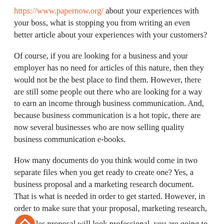https://www.papernow.org/ about your experiences with your boss, what is stopping you from writing an even better article about your experiences with your customers?
Of course, if you are looking for a business and your employer has no need for articles of this nature, then they would not be the best place to find them. However, there are still some people out there who are looking for a way to earn an income through business communication. And, because business communication is a hot topic, there are now several businesses who are now selling quality business communication e-books.
How many documents do you think would come in two separate files when you get ready to create one? Yes, a business proposal and a marketing research document. That is what is needed in order to get started. However, in order to make sure that your proposal, marketing research, and sales proposal will look professional, you are going to need a professional http://users.rider.edu/~suler/researchpap.html